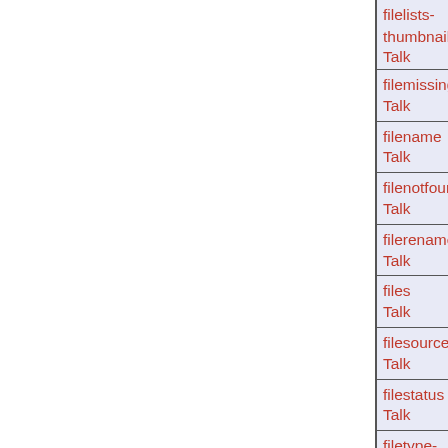| filelists-thumbnail-yes | Talk |
| filemissing | Talk |
| filename | Talk |
| filenotfound | Talk |
| filerenameerror | Talk |
| files | Talk |
| filesource | Talk |
| filestatus | Talk |
| filetype-badmime | Talk |
| filetype-badtype | Talk |
| filetype-missing | Talk |